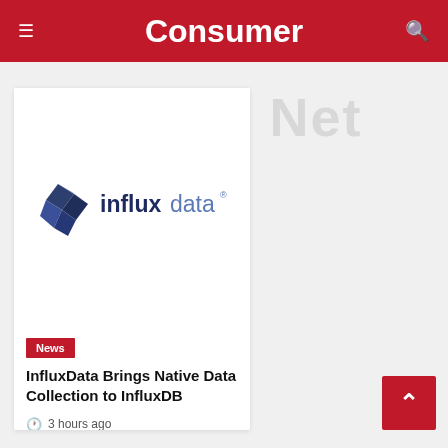Consumer
...nics Net
[Figure (logo): InfluxData logo: dark blue geometric crystal icon on the left, 'influxdata' text with 'influx' in dark navy bold and 'data' in lighter blue, with registered trademark symbol]
News
InfluxData Brings Native Data Collection to InfluxDB
3 hours ago